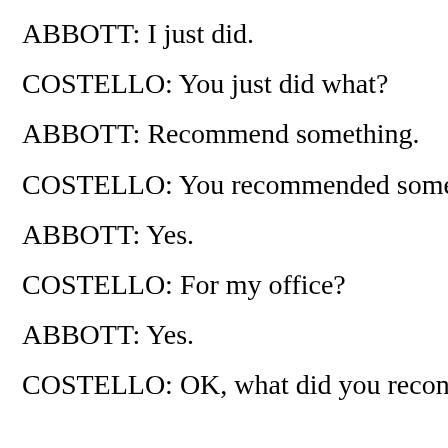ABBOTT: I just did.
COSTELLO: You just did what?
ABBOTT: Recommend something.
COSTELLO: You recommended some…
ABBOTT: Yes.
COSTELLO: For my office?
ABBOTT: Yes.
COSTELLO: OK, what did you recon…